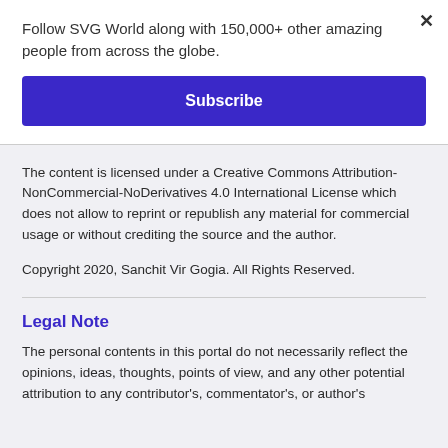Follow SVG World along with 150,000+ other amazing people from across the globe.
Subscribe
The content is licensed under a Creative Commons Attribution-NonCommercial-NoDerivatives 4.0 International License which does not allow to reprint or republish any material for commercial usage or without crediting the source and the author.
Copyright 2020, Sanchit Vir Gogia. All Rights Reserved.
Legal Note
The personal contents in this portal do not necessarily reflect the opinions, ideas, thoughts, points of view, and any other potential attribution to any contributor's, commentator's, or author's